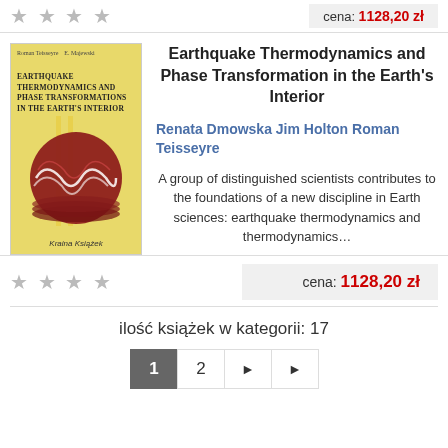★ ★ ★ ★
cena: 1128,20 zł
[Figure (illustration): Book cover of Earthquake Thermodynamics and Phase Transformations in the Earth's Interior, yellow background with red globe/seismic wave illustration, Kraina Książek watermark]
Earthquake Thermodynamics and Phase Transformation in the Earth's Interior
Renata Dmowska Jim Holton Roman Teisseyre
A group of distinguished scientists contributes to the foundations of a new discipline in Earth sciences: earthquake thermodynamics and thermodynamics...
★ ★ ★ ★
cena: 1128,20 zł
ilość książek w kategorii: 17
1  2  ▶  ▶